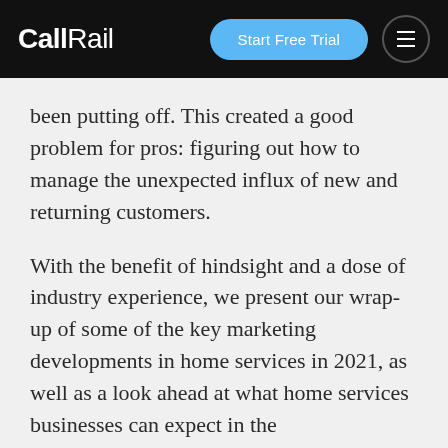CallRail | Start Free Trial
been putting off. This created a good problem for pros: figuring out how to manage the unexpected influx of new and returning customers.
With the benefit of hindsight and a dose of industry experience, we present our wrap-up of some of the key marketing developments in home services in 2021, as well as a look ahead at what home services businesses can expect in the...